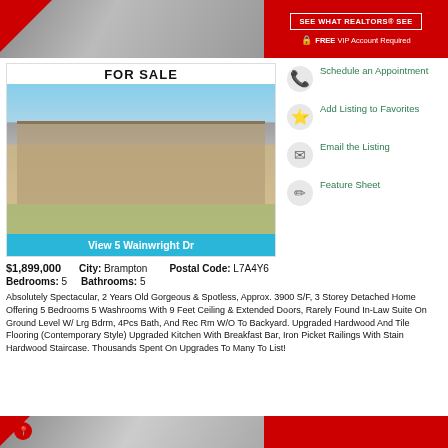[Figure (photo): Top banner with blurred property photo on left and red sidebar with 'SEE WHAT REALTORS SEE' button and 'FREE VIP Account Required' text]
SEE WHAT REALTORS® SEE
FREE VIP Account Required
FOR SALE
[Figure (photo): Two-storey detached stone and brick home with triple garage, balconies, and landscaped front yard with white car]
View 5 Wainwright Dr
Schedule an Appointment
Add Listing to Favorites
Email the Listing
Feature Sheet
$1,899,000   City: Brampton   Postal Code: L7A4Y6
Bedrooms: 5   Bathrooms: 5
Absolutely Spectacular, 2 Years Old Gorgeous & Spotless, Approx. 3900 S/F, 3 Storey Detached Home Offering 5 Bedrooms 5 Washrooms With 9 Feet Ceiling & Extended Doors, Rarely Found In-Law Suite On Ground Level W/ Lrg Bdrm, 4Pcs Bath, And Rec Rm W/O To Backyard. Upgraded Hardwood And Tile Flooring (Contemporary Style) Upgraded Kitchen With Breakfast Bar, Iron Picket Railings With Stain Hardwood Staircase. Thousands Spent On Upgrades To Many To List!
[Figure (photo): Bottom partial banner with another property photo and red sidebar]